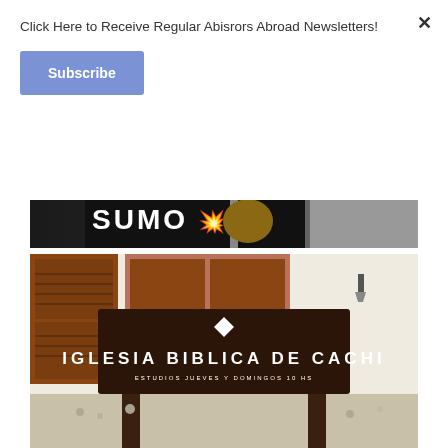Click Here to Receive Regular Abisrors Abroad Newsletters!
Subscribe
[Figure (photo): Top portion of a photo showing a person wearing a black SUMO shirt against a light background]
[Figure (photo): Photo of a wooden church sign reading 'IGLESIA BIBLICA DE CACHI' with smaller text 'ESTUDIOS JUEVES Y DOMINGOS 10 HS', in front of a building with shuttered windows]